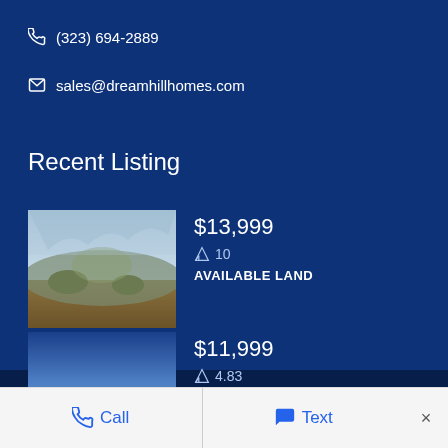(323) 694-2889
sales@dreamhillhomes.com
Recent Listing
$13,999 | 10 | AVAILABLE LAND
$11,999 | 4.83 | AVAILABLE LAND
Call | Text | ×